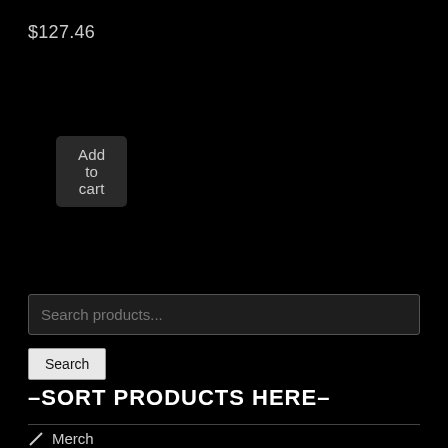$127.46
Add to cart
Search products...
Search
–SORT PRODUCTS HERE–
Merch